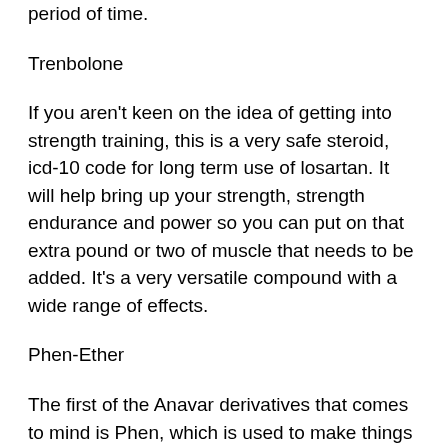period of time.
Trenbolone
If you aren't keen on the idea of getting into strength training, this is a very safe steroid, icd-10 code for long term use of losartan. It will help bring up your strength, strength endurance and power so you can put on that extra pound or two of muscle that needs to be added. It's a very versatile compound with a wide range of effects.
Phen-Ether
The first of the Anavar derivatives that comes to mind is Phen, which is used to make things like muscle creams, creams and gels, creatine and steroids together. It isn't really anything that would be suitable for strength training so it isn't mentioned, but it's a very reliable steroid.